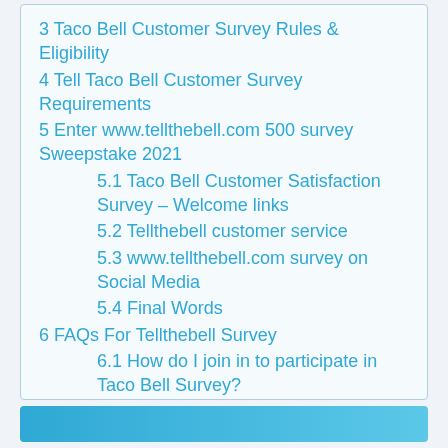3 Taco Bell Customer Survey Rules & Eligibility
4 Tell Taco Bell Customer Survey Requirements
5 Enter www.tellthebell.com 500 survey Sweepstake 2021
5.1 Taco Bell Customer Satisfaction Survey – Welcome links
5.2 Tellthebell customer service
5.3 www.tellthebell.com survey on Social Media
5.4 Final Words
6 FAQs For Tellthebell Survey
6.1 How do I join in to participate in Taco Bell Survey?